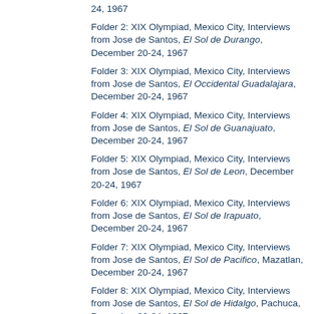24, 1967
Folder 2: XIX Olympiad, Mexico City, Interviews from Jose de Santos, El Sol de Durango, December 20-24, 1967
Folder 3: XIX Olympiad, Mexico City, Interviews from Jose de Santos, El Occidental Guadalajara, December 20-24, 1967
Folder 4: XIX Olympiad, Mexico City, Interviews from Jose de Santos, El Sol de Guanajuato, December 20-24, 1967
Folder 5: XIX Olympiad, Mexico City, Interviews from Jose de Santos, El Sol de Leon, December 20-24, 1967
Folder 6: XIX Olympiad, Mexico City, Interviews from Jose de Santos, El Sol de Irapuato, December 20-24, 1967
Folder 7: XIX Olympiad, Mexico City, Interviews from Jose de Santos, El Sol de Pacifico, Mazatlan, December 20-24, 1967
Folder 8: XIX Olympiad, Mexico City, Interviews from Jose de Santos, El Sol de Hidalgo, Pachuca, December 20-24, 1967
Folder 9: XIX Olympiad, Mexico City, Interviews from Jose de Santos, El Sol de Pueblo, December 20-24, 1967